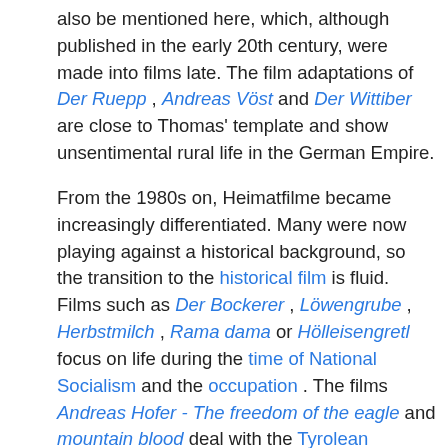also be mentioned here, which, although published in the early 20th century, were made into films late. The film adaptations of Der Ruepp , Andreas Vöst and Der Wittiber are close to Thomas' template and show unsentimental rural life in the German Empire.
From the 1980s on, Heimatfilme became increasingly differentiated. Many were now playing against a historical background, so the transition to the historical film is fluid. Films such as Der Bockerer , Löwengrube , Herbstmilch , Rama dama or Hölleisengretl focus on life during the time of National Socialism and the occupation . The films Andreas Hofer - The freedom of the eagle and mountain blood deal with the Tyrolean uprising . Other films, such as Räuber Kneißl , Jennerwein or Margarete Steiff , take up historical personalities, but try to be realistic without kitsch.
[Figure (other): Advertisement for BitLife - Life Simulator app with install button]